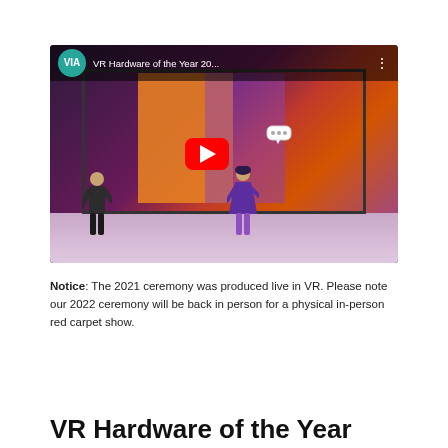[Figure (screenshot): YouTube video thumbnail showing 'VR Hardware of the Year 20...' with a VR avatar channel icon, red YouTube play button overlay, two virtual avatars standing in front of a large screen displaying orange and purple rectangles in a virtual environment.]
Notice: The 2021 ceremony was produced live in VR. Please note our 2022 ceremony will be back in person for a physical in-person red carpet show.
VR Hardware of the Year